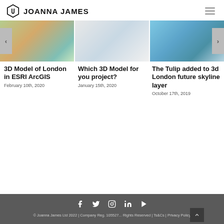JOANNA JAMES
[Figure (photo): Three article thumbnail images side by side: 3D model aerial view, aerial map view, and 3D London skyline aerial view]
3D Model of London in ESRI ArcGIS
February 10th, 2020
Which 3D Model for you project?
January 15th, 2020
The Tulip added to 3d London future skyline layer
October 17th, 2019
© Joanna James Ltd 2022 | Company Reg. 105527... Rights Reserved | Ts&Cs | Privacy Policy